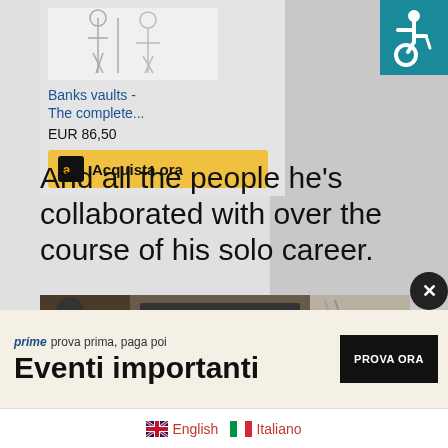[Figure (screenshot): Book product card showing 'Banks vaults - The complete...' with price EUR 86,50 and Amazon 'Acquista ora' buy button]
[Figure (logo): Accessibility icon (wheelchair symbol) in teal/blue on top right corner]
And all the people he's collaborated with over the course of his solo career.
[Figure (screenshot): Prog magazine banner image showing magazine cover with musicians]
[Figure (screenshot): Amazon Prime ad banner: 'prime prova prima, paga poi' / 'Eventi importanti' with 'PROVA ORA' button]
[Figure (screenshot): Audible banner: 'Listen free for 30 days' with audib[le] logo]
English   Italiano